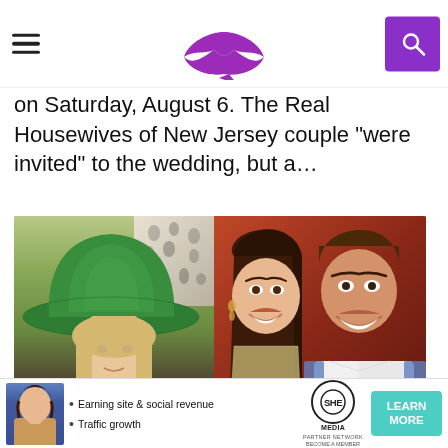Navigation header with hamburger menu, lips logo, and search button
on Saturday, August 6. The Real Housewives of New Jersey couple “were invited” to the wedding, but a…
[Figure (photo): Composite of two photos: left shows a woman wearing a green bucket hat; right shows a woman with long brown hair and a man in a white shirt smiling together against a red background]
THE REAL HOUSEWIVES OF NEW JERSEY - RHONJ
Di...
[Figure (other): Advertisement banner for SHE Media Partner Network with text: Earning site & social revenue, Traffic growth, LEARN MORE button]